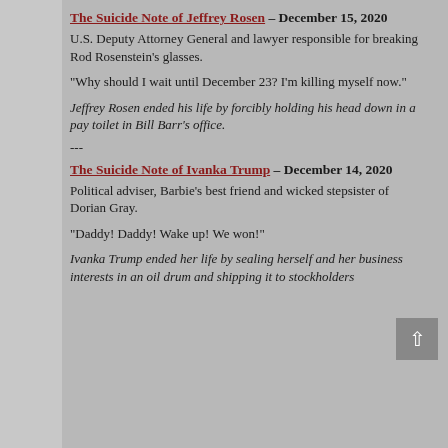The Suicide Note of Jeffrey Rosen – December 15, 2020
U.S. Deputy Attorney General and lawyer responsible for breaking Rod Rosenstein's glasses.
“Why should I wait until December 23? I’m killing myself now.”
Jeffrey Rosen ended his life by forcibly holding his head down in a pay toilet in Bill Barr’s office.
---
The Suicide Note of Ivanka Trump – December 14, 2020
Political adviser, Barbie’s best friend and wicked stepsister of Dorian Gray.
“Daddy! Daddy! Wake up! We won!”
Ivanka Trump ended her life by sealing herself and her business interests in an oil drum and shipping it to stockholders